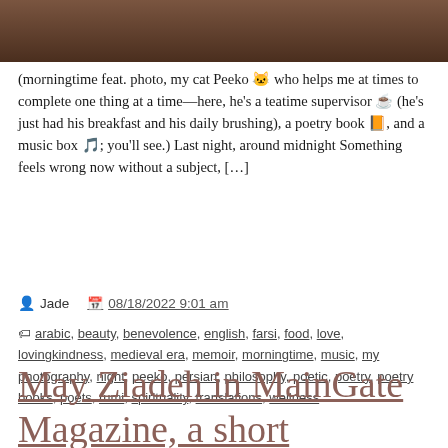[Figure (photo): Top portion of a photo showing a brown wooden surface, partially cropped]
(morningtime feat. photo, my cat Peeko 🐱 who helps me at times to complete one thing at a time—here, he's a teatime supervisor ☕ (he's just had his breakfast and his daily brushing), a poetry book 📙, and a music box 🎵; you'll see.) Last night, around midnight Something feels wrong now without a subject, […]
Jade  08/18/2022 9:01 am
arabic, beauty, benevolence, english, farsi, food, love, lovingkindness, medieval era, memoir, morningtime, music, my photography, night, peeko, persian, philosophy, poetic, poetry, poetry books, poets, rumi, spirituality, translations, wellness
May Ziadeh in MainGate Magazine, a short biography with